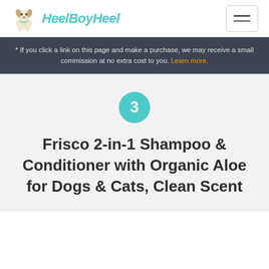HeelBoyHeel
* If you click a link on this page and make a purchase, we may receive a small commission at no extra cost to you. Learn more.
3
Frisco 2-in-1 Shampoo & Conditioner with Organic Aloe for Dogs & Cats, Clean Scent